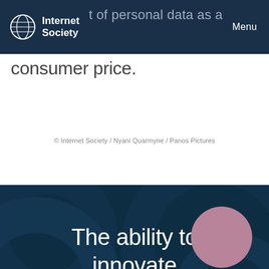[Figure (logo): Internet Society globe logo with grid/network pattern]
Internet Society   t of personal data as a   Menu
consumer price.
© Internet Society / Nyani Quarmyne / Panos Pictures
[Figure (illustration): Dark teal/navy banner with decorative overlapping circular shapes in the background]
The ability to innovate
[Figure (illustration): Mauve/dusty pink circle decorative element at bottom right]